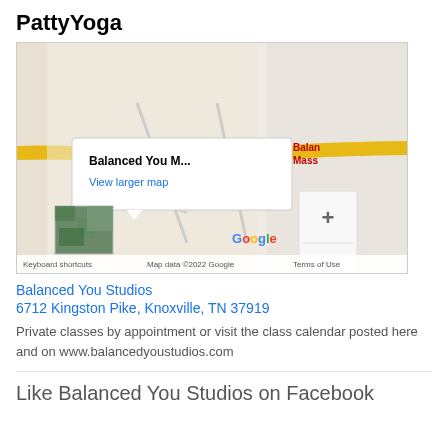PattyYoga
[Figure (map): Google Map showing location of Balanced You M... (Balanced You Studios) at 6712 Kingston Pike, Knoxville, TN. Map includes a red pin marker, road labels (Golf Club Rd, Lockett Rd, Lark Ln), a popup with 'Balanced You M...' and 'View larger map' link, zoom controls (+/-), Google logo, satellite thumbnail, and footer text 'Keyboard shortcuts  Map data ©2022 Google  Terms of Use'.]
Balanced You Studios
6712 Kingston Pike, Knoxville, TN 37919
Private classes by appointment or visit the class calendar posted here and on www.balancedyoustudios.com
Like Balanced You Studios on Facebook